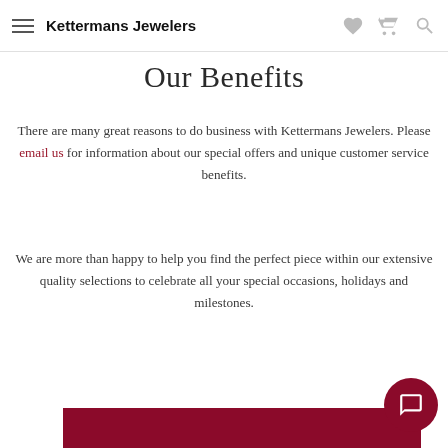Kettermans Jewelers
Our Benefits
There are many great reasons to do business with Kettermans Jewelers. Please email us for information about our special offers and unique customer service benefits.
We are more than happy to help you find the perfect piece within our extensive quality selections to celebrate all your special occasions, holidays and milestones.